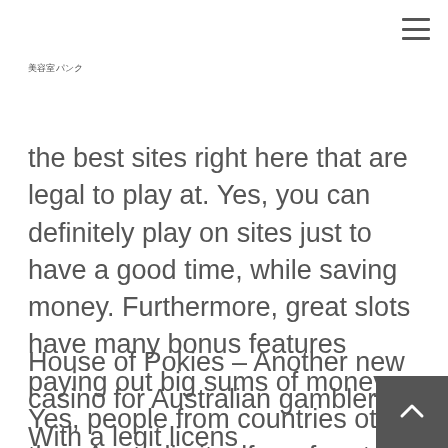美容室パンク
the best sites right here that are legal to play at. Yes, you can definitely play on sites just to have a good time, while saving money. Furthermore, great slots have many bonus features paying out big sums of money. Yes, people from countries other than Australia itself are free to play on the country's gambling sites.
House of Pokies – Another new casino for Australian gamblers. With a legit licens… new gamblers can win up to A$ 1,000…